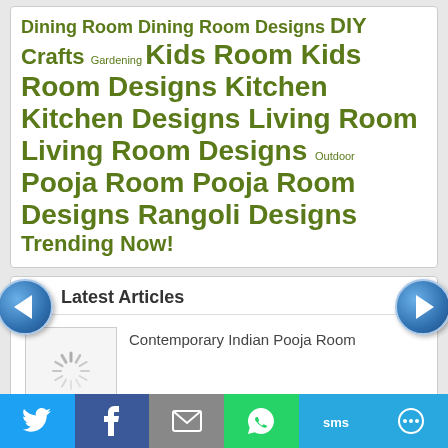Dining Room Dining Room Designs DIY Crafts Gardening Kids Room Kids Room Designs Kitchen Kitchen Designs Living Room Living Room Designs Outdoor Pooja Room Pooja Room Designs Rangoli Designs Trending Now!
Latest Articles
Contemporary Indian Pooja Room
[Figure (illustration): Loading spinner icon (placeholder image)]
Balcony Decorating Ideas
[Figure (illustration): Loading spinner icon (placeholder image)]
[Figure (infographic): Social share bar with Twitter, Facebook, Email, WhatsApp, SMS, and More buttons]